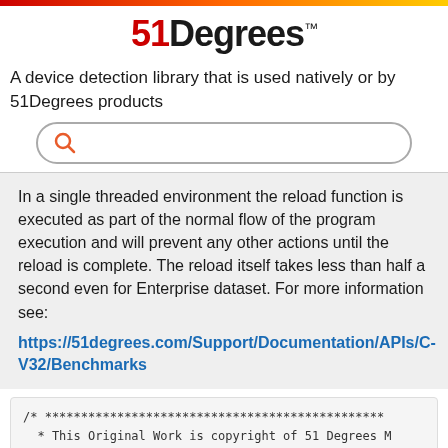[Figure (logo): 51Degrees logo with trademark symbol]
A device detection library that is used natively or by 51Degrees products
[Figure (other): Search bar with orange magnifying glass icon]
In a single threaded environment the reload function is executed as part of the normal flow of the program execution and will prevent any other actions until the reload is complete. The reload itself takes less than half a second even for Enterprise dataset. For more information see:
https://51degrees.com/Support/Documentation/APIs/C-V32/Benchmarks
/* ****************************************************
 * This Original Work is copyright of 51 Degrees M
 * Copyright 2019 51 Degrees Mobile Experts Limite